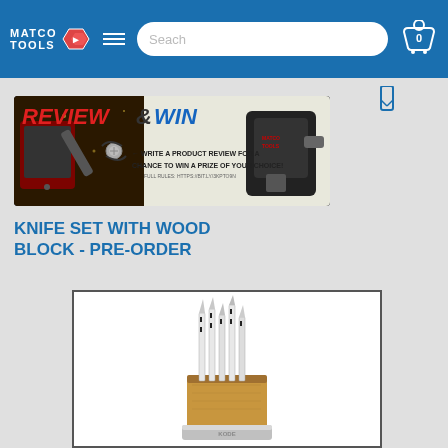Matco Tools — navigation header with search and cart
[Figure (screenshot): Review & Win promotional banner with tools. Text: REVIEW & WIN — WRITE A PRODUCT REVIEW FOR A CHANCE TO WIN A PRIZE OF YOUR CHOICE!]
KNIFE SET WITH WOOD BLOCK - PRE-ORDER
[Figure (photo): Knife set with wood block product photo — multiple knives with striped handles inserted into a light wood block with a chrome base labeled KODE]